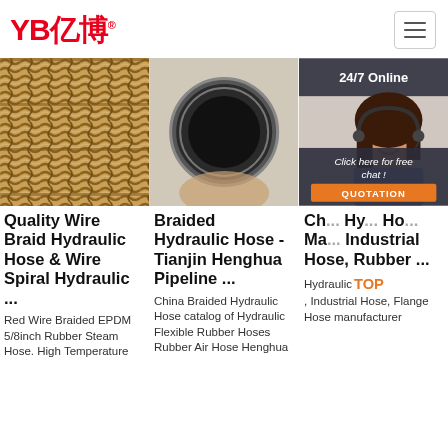YB亿博® | Navigation menu (hamburger)
[Figure (photo): Close-up of golden/tan braided wire hydraulic hose texture]
[Figure (photo): End-on view of a large braided hydraulic hose being held by a hand]
[Figure (photo): 24/7 Online customer service representative with headset, smiling; with chat overlay showing 'Click here for free chat!' and orange QUOTATION button]
Quality Wire Braid Hydraulic Hose & Wire Spiral Hydraulic ...
Red Wire Braided EPDM 5/8inch Rubber Steam Hose. High Temperature
Braided Hydraulic Hose - Tianjin Henghua Pipeline ...
China Braided Hydraulic Hose catalog of Hydraulic Flexible Rubber Hoses Rubber Air Hose Henghua
Ch... Hy... Ho... Ma... Industrial Hose, Rubber ...
Hydraulic Hose, Industrial Hose, Flange Hose manufacturer